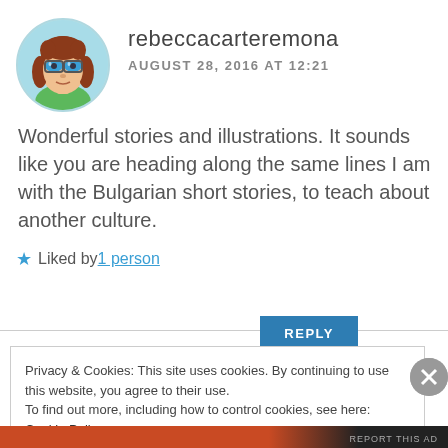[Figure (illustration): Cartoon avatar of a woman with red/brown hair, glasses, and a green top, inside a circular frame with light blue background]
rebeccacarteremona
AUGUST 28, 2016 AT 12:21
Wonderful stories and illustrations. It sounds like you are heading along the same lines I am with the Bulgarian short stories, to teach about another culture.
★ Liked by 1 person
REPLY
Privacy & Cookies: This site uses cookies. By continuing to use this website, you agree to their use.
To find out more, including how to control cookies, see here: Cookie Policy
Close and accept